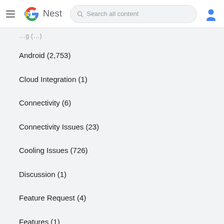Google Nest — Search all content
Android (2,753)
Cloud Integration (1)
Connectivity (6)
Connectivity Issues (23)
Cooling Issues (726)
Discussion (1)
Feature Request (4)
Features (1)
Feedback (837)